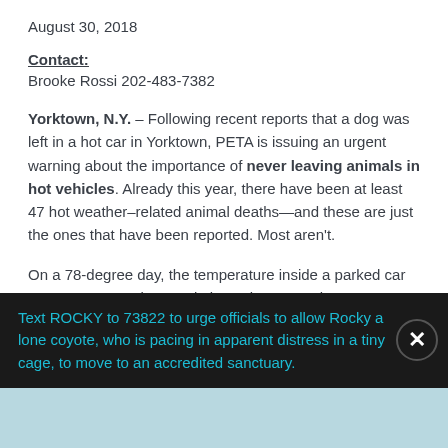August 30, 2018
Contact:
Brooke Rossi 202-483-7382
Yorktown, N.Y. – Following recent reports that a dog was left in a hot car in Yorktown, PETA is issuing an urgent warning about the importance of never leaving animals in hot vehicles. Already this year, there have been at least 47 hot weather–related animal deaths—and these are just the ones that have been reported. Most aren't.
On a 78-degree day, the temperature inside a parked car can soar to 100 degrees in just minutes, and on a 90-
Text ROCKY to 73822 to urge officials to allow Rocky a lone coyote, who is pacing in apparent distress in a tiny cage, to move to an accredited sanctuary.